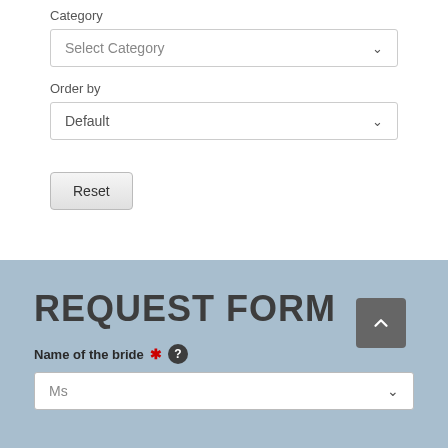Category
[Figure (screenshot): Dropdown select box showing 'Select Category' placeholder text]
Order by
[Figure (screenshot): Dropdown select box showing 'Default' value]
Reset
REQUEST FORM
Name of the bride *
[Figure (screenshot): Dropdown select box showing 'Ms' with chevron, and back-to-top button]